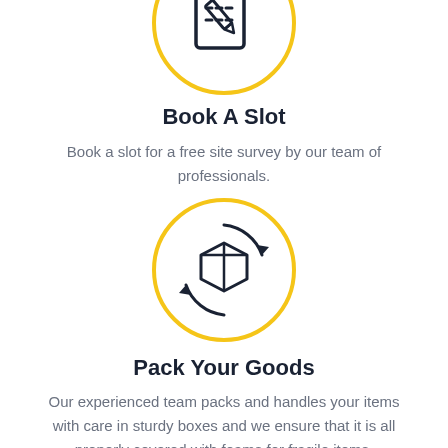[Figure (illustration): Partially cropped yellow circle with a document and pencil icon inside, centered at top of page]
Book A Slot
Book a slot for a free site survey by our team of professionals.
[Figure (illustration): Yellow outlined circle containing a box/package with circular arrows around it (packing/delivery icon)]
Pack Your Goods
Our experienced team packs and handles your items with care in sturdy boxes and we ensure that it is all properly covered with foams for fragile items.